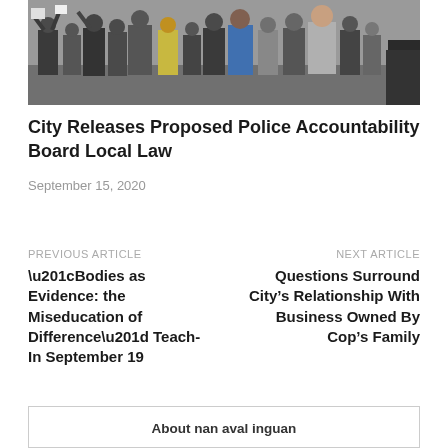[Figure (photo): Outdoor crowd scene with many people standing on a street, some holding signs, viewed from behind; appears to be a public protest or demonstration]
City Releases Proposed Police Accountability Board Local Law
September 15, 2020
PREVIOUS ARTICLE
“Bodies as Evidence: the Miseducation of Difference” Teach-In September 19
NEXT ARTICLE
Questions Surround City’s Relationship With Business Owned By Cop’s Family
About nan aval inguan